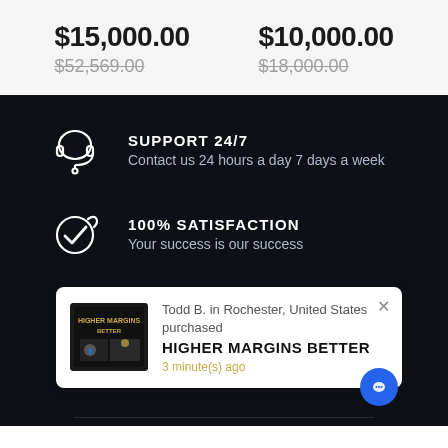$15,000.00
$52,569.00
$10,000.00
$18,000.00
[Figure (illustration): Headset/support icon in white outline on dark background]
SUPPORT 24/7
Contact us 24 hours a day 7 days a week
[Figure (illustration): Checkmark inside circle icon in white outline on dark background]
100% SATISFACTION
Your success is our success
Todd B. in Rochester, United States purchased
HIGHER MARGINS BETTER
3 minute(s) ago